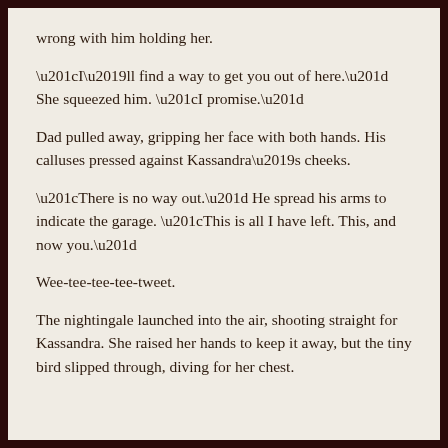wrong with him holding her.
“I’ll find a way to get you out of here.” She squeezed him. “I promise.”
Dad pulled away, gripping her face with both hands. His calluses pressed against Kassandra’s cheeks.
“There is no way out.” He spread his arms to indicate the garage. “This is all I have left. This, and now you.”
Wee-tee-tee-tee-tweet.
The nightingale launched into the air, shooting straight for Kassandra. She raised her hands to keep it away, but the tiny bird slipped through, diving for her chest.